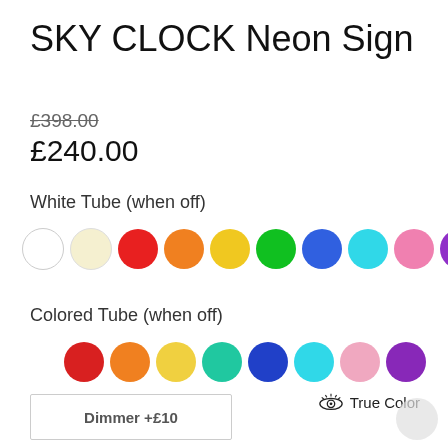SKY CLOCK Neon Sign
£398.00 (strikethrough) £240.00
White Tube (when off)
[Figure (other): Row of 10 color swatches (circles): white, cream/ivory, red, orange, yellow, green, blue, cyan, pink, purple]
Colored Tube (when off)
[Figure (other): Row of 8 color swatches (circles): red, orange, yellow, teal/green, dark blue, cyan, light pink, purple]
True Color
Dimmer +£10